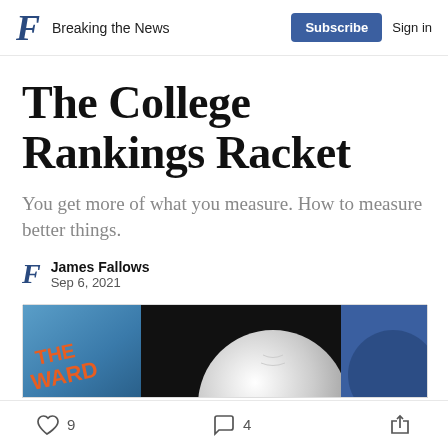Breaking the News | Subscribe  Sign in
The College Rankings Racket
You get more of what you measure. How to measure better things.
James Fallows
Sep 6, 2021
[Figure (photo): Partial image showing a book cover with 'THE WARD' text in orange, a baseball, and a blue graphic element]